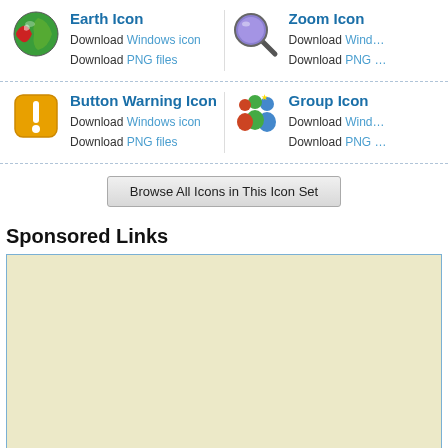[Figure (illustration): Earth Icon - globe with green and red segments]
Earth Icon
Download Windows icon
Download PNG files
[Figure (illustration): Zoom Icon - magnifying glass with purple lens]
Zoom Icon
Download Windows icon
Download PNG files
[Figure (illustration): Button Warning Icon - orange square with exclamation mark]
Button Warning Icon
Download Windows icon
Download PNG files
[Figure (illustration): Group Icon - colorful cartoon people figures]
Group Icon
Download Windows icon
Download PNG files
Browse All Icons in This Icon Set
Sponsored Links